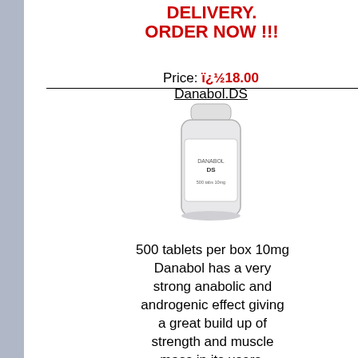DELIVERY. ORDER NOW !!!
Price: ï¿½18.00
Danabol.DS
[Figure (photo): White plastic pill bottle labeled DANABOL DS]
500 tablets per box 10mg Danabol has a very strong anabolic and androgenic effect giving a great build up of strength and muscle mass in its users.
DANABOLï¿½ D.S.ï¿½ INï¿½ U.K. NOW !!! BUYï¿½ NOW !!! ï¿½ï¿½ï¿½ï¿½ 3/4
[Figure (photo): Multiple supplement/pharmaceutical bottles including green and white labeled bottles]
Best prices o
We offer the best pric... customers we can dis... place to come if you w...